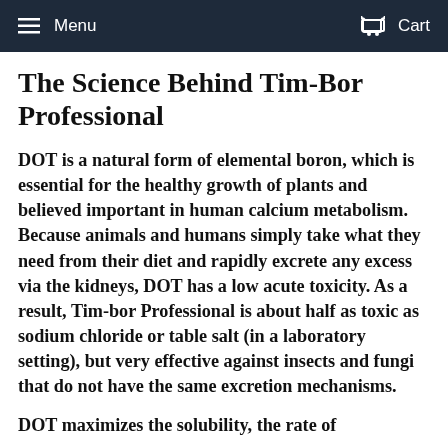Menu  Cart
The Science Behind Tim-Bor Professional
DOT is a natural form of elemental boron, which is essential for the healthy growth of plants and believed important in human calcium metabolism. Because animals and humans simply take what they need from their diet and rapidly excrete any excess via the kidneys, DOT has a low acute toxicity. As a result, Tim-bor Professional is about half as toxic as sodium chloride or table salt (in a laboratory setting), but very effective against insects and fungi that do not have the same excretion mechanisms.
DOT maximizes the solubility, the rate of